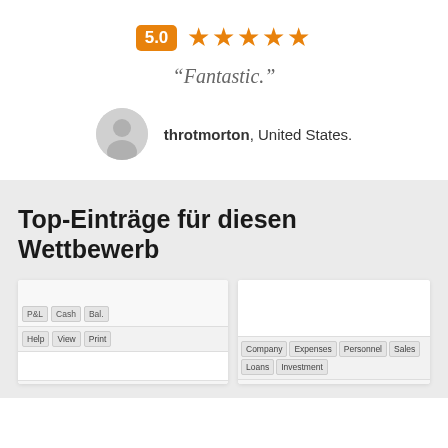[Figure (infographic): Rating badge showing 5.0 in orange square followed by 5 orange stars]
“Fantastic.”
[Figure (photo): User avatar placeholder grey circle with person silhouette]
throtmorton, United States.
Top-Einträge für diesen Wettbewerb
[Figure (screenshot): Screenshot of a financial software showing tabs: P&L, Cash, Bal, Help, View, Print, Company, Expenses, Personnel, Sales, Loans, Investment]